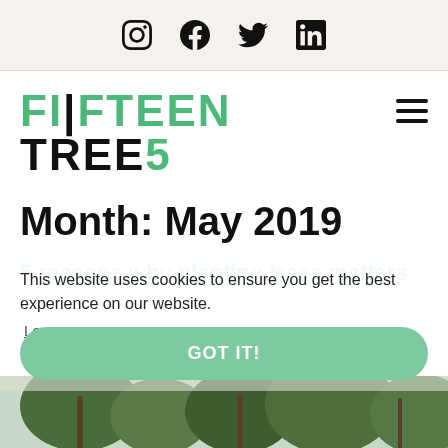Social icons: Instagram, Facebook, Twitter, LinkedIn
[Figure (logo): FifteenTree5 logo in green and black bold text with pipe character]
Month: May 2019
5 reasons why planting trees matters
This website uses cookies to ensure you get the best experience on our website.
Learn more
15Trees_Client | Posted on May 23, 2019
GOT IT!
[Figure (photo): Photo of trees at the bottom of the page]